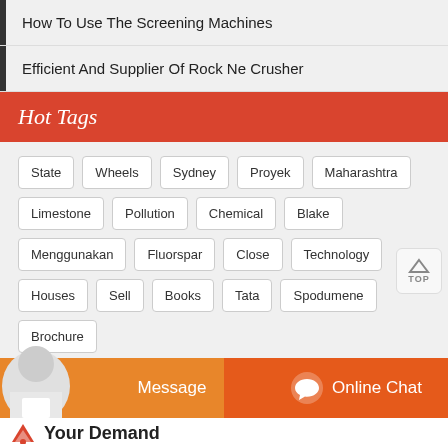How To Use The Screening Machines
Efficient And Supplier Of Rock Ne Crusher
Hot Tags
State
Wheels
Sydney
Proyek
Maharashtra
Limestone
Pollution
Chemical
Blake
Menggunakan
Fluorspar
Close
Technology
Houses
Sell
Books
Tata
Spodumene
Brochure
Message
Online Chat
Your Demand